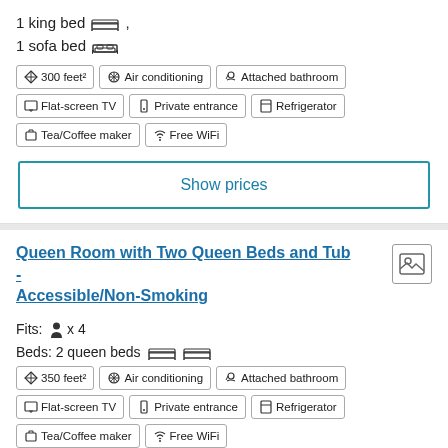1 king bed , 1 sofa bed
300 feet² | Air conditioning | Attached bathroom | Flat-screen TV | Private entrance | Refrigerator | Tea/Coffee maker | Free WiFi
Show prices
Queen Room with Two Queen Beds and Tub - Accessible/Non-Smoking
Fits: x 4
Beds: 2 queen beds
350 feet² | Air conditioning | Attached bathroom | Flat-screen TV | Private entrance | Refrigerator | Tea/Coffee maker | Free WiFi
Show prices